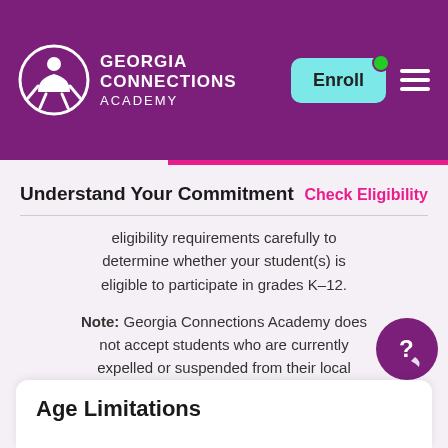[Figure (logo): Georgia Connections Academy logo with header navigation including Enroll button and hamburger menu on purple background]
Understand Your Commitment
Check Eligibility
eligibility requirements carefully to determine whether your student(s) is eligible to participate in grades K–12.
Note: Georgia Connections Academy does not accept students who are currently expelled or suspended from their local school or district.
Age Limitations